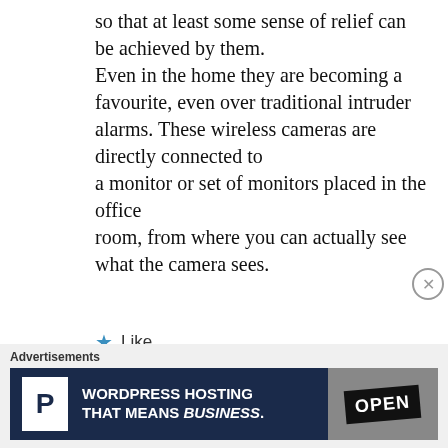so that at least some sense of relief can be achieved by them. Even in the home they are becoming a favourite, even over traditional intruder alarms. These wireless cameras are directly connected to a monitor or set of monitors placed in the office room, from where you can actually see what the camera sees.
★ Like
Advertisements
[Figure (other): Advertisement banner for WordPress Hosting with P icon and OPEN sign image. Text reads: WORDPRESS HOSTING THAT MEANS BUSINESS.]